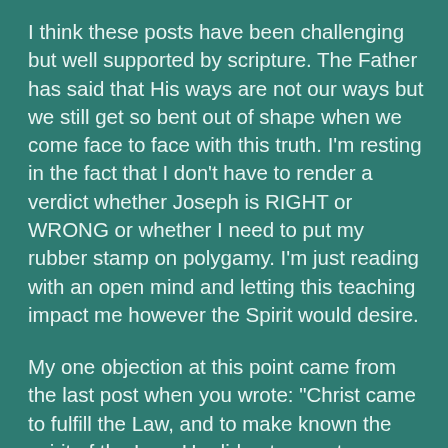I think these posts have been challenging but well supported by scripture. The Father has said that His ways are not our ways but we still get so bent out of shape when we come face to face with this truth. I'm resting in the fact that I don't have to render a verdict whether Joseph is RIGHT or WRONG or whether I need to put my rubber stamp on polygamy. I'm just reading with an open mind and letting this teaching impact me however the Spirit would desire.
My one objection at this point came from the last post when you wrote: "Christ came to fulfill the Law, and to make known the spirit of the Law. He did not come to reinterpret it, nor to alter its commands." I find this statement to be contradictory since you also teach that keeping the actual